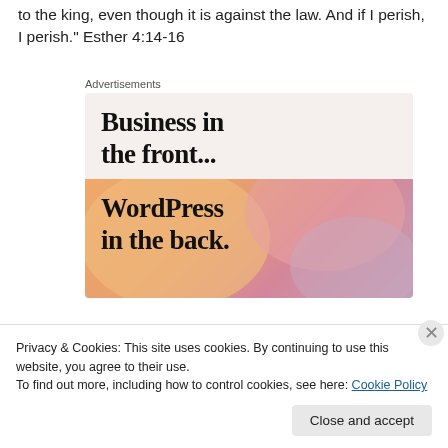to the king, even though it is against the law. And if I perish, I perish." Esther 4:14-16
Advertisements
[Figure (infographic): WordPress advertisement showing 'Business in the front...' in dark text on light beige background, and 'WordPress in the back.' on a gradient orange-pink background]
Privacy & Cookies: This site uses cookies. By continuing to use this website, you agree to their use.
To find out more, including how to control cookies, see here: Cookie Policy